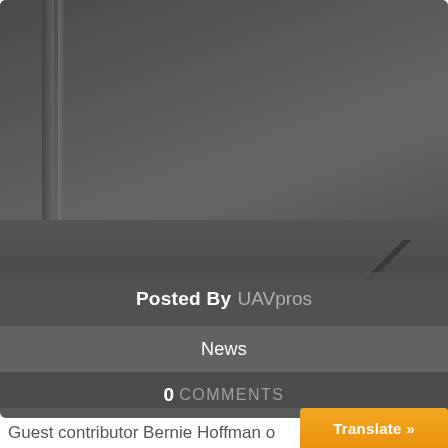[Figure (photo): Dark grey background photo showing what appears to be an interior space with a structural element visible on the left side and a diagonal line/shadow visible in the lower right area]
Posted By UAVpros
News
0 COMMENTS
Guest contributor Bernie Hoffman o
Translate »